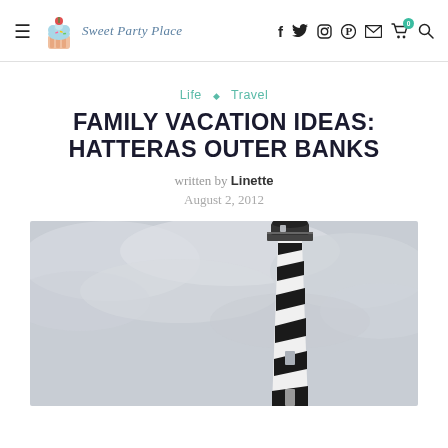Sweet Party Place
Life ◇ Travel
FAMILY VACATION IDEAS: HATTERAS OUTER BANKS
written by Linette
August 2, 2012
[Figure (photo): Black and white striped lighthouse (Cape Hatteras Lighthouse) photographed from below against an overcast sky]